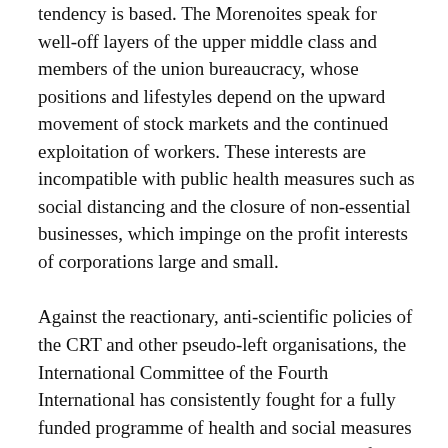tendency is based. The Morenoites speak for well-off layers of the upper middle class and members of the union bureaucracy, whose positions and lifestyles depend on the upward movement of stock markets and the continued exploitation of workers. These interests are incompatible with public health measures such as social distancing and the closure of non-essential businesses, which impinge on the profit interests of corporations large and small.
Against the reactionary, anti-scientific policies of the CRT and other pseudo-left organisations, the International Committee of the Fourth International has consistently fought for a fully funded programme of health and social measures to combat the pandemic. A genuine, scientifically led struggle to eradicate the coronavirus cannot be achieved outside of a frontal assault on the capitalist system, which prioritises profit making above all else. This requires a political break with all the